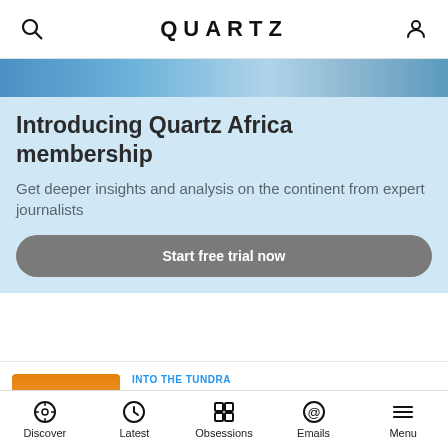QUARTZ
[Figure (photo): Partial image strip at the top of a blue-toned photo (Quartz Africa promotional banner image)]
Introducing Quartz Africa membership
Get deeper insights and analysis on the continent from expert journalists
Start free trial now
INTO THE TUNDRA
[Figure (photo): A winter tundra landscape with spruce trees at sunset, snowy ground, warm orange sky]
Spruce trees have arrived in the Arctic tundra a century ahead of schedule
Quartz · August 13, 2022
Discover  Latest  Obsessions  Emails  Menu